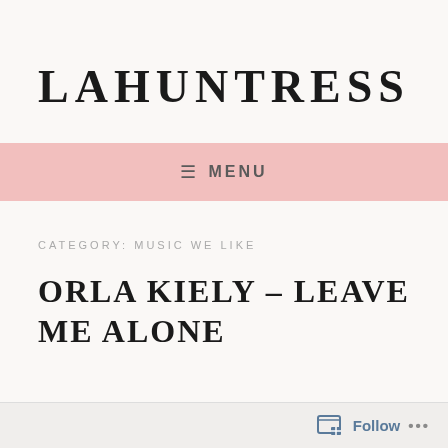LAHUNTRESS
≡  MENU
CATEGORY: MUSIC WE LIKE
ORLA KIELY– LEAVE ME ALONE
Follow ...